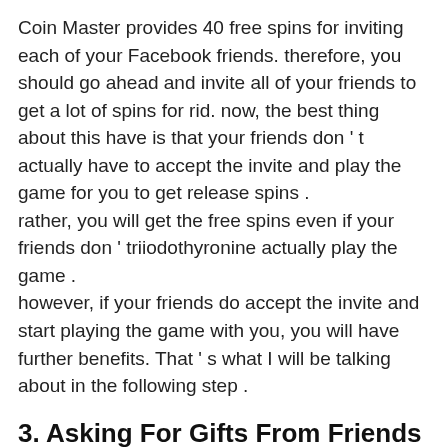Coin Master provides 40 free spins for inviting each of your Facebook friends. therefore, you should go ahead and invite all of your friends to get a lot of spins for rid. now, the best thing about this have is that your friends don ' t actually have to accept the invite and play the game for you to get release spins . rather, you will get the free spins even if your friends don ' triiodothyronine actually play the game . however, if your friends do accept the invite and start playing the game with you, you will have further benefits. That ' s what I will be talking about in the following step .
3. Asking For Gifts From Friends
Every day, you can ask your friends to give you one exempt spin on the Coin Master. And, you can besides give your ally